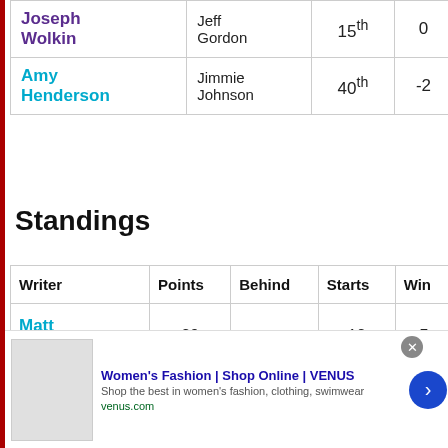| Writer | Driver | Place | Score |
| --- | --- | --- | --- |
| Joseph Wolkin | Jeff Gordon | 15th | 0 |
| Amy Henderson | Jimmie Johnson | 40th | -2 |
Standings
| Writer | Points | Behind | Starts | Win |
| --- | --- | --- | --- | --- |
| Matt Stallknecht | 29 | — | 12 | 5 |
[Figure (other): Advertisement banner for Women's Fashion | Shop Online | VENUS. Shows a fashion image, blue title text, subtitle 'Shop the best in women's fashion, clothing, swimwear', URL venus.com, close button, and blue forward arrow button.]